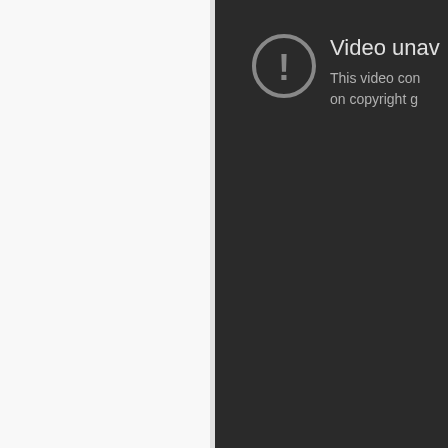[Figure (screenshot): A partial screenshot of a video player showing a 'Video unavailable' error message with a warning icon (exclamation mark in a circle) and partially visible text: 'Video unav...' and 'This video con... on copyright g...'. The left portion of the image shows a white/light gray sidebar, and the right portion shows a dark player background. Below the dark player area is a light gray region.]